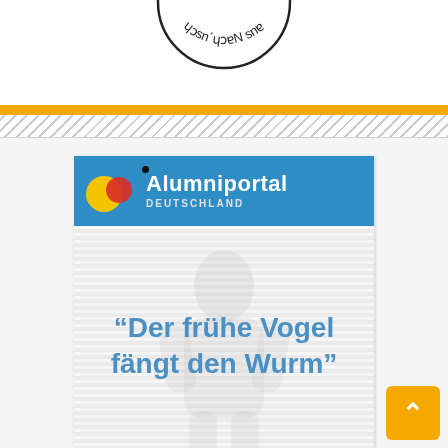[Figure (illustration): Partial circular stamp/seal visible at top, upside-down text reading 'Nachwuchs aus Sicht' around the arc]
[Figure (logo): Alumniportal Deutschland logo banner with blue background, yellow and red overlapping circles, black dot, and white text 'Alumniportal DEUTSCHLAND']
“Der frühe Vogel fängt den Wurm”